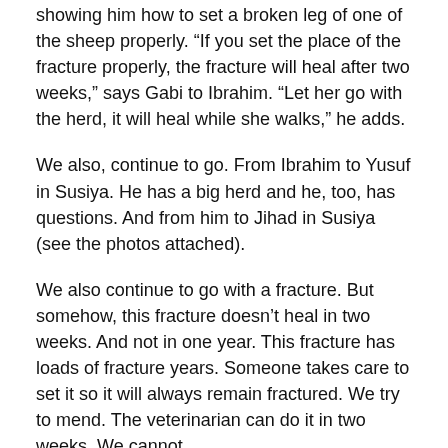showing him how to set a broken leg of one of the sheep properly. “If you set the place of the fracture properly, the fracture will heal after two weeks,” says Gabi to Ibrahim. “Let her go with the herd, it will heal while she walks,” he adds.
We also, continue to go. From Ibrahim to Yusuf in Susiya. He has a big herd and he, too, has questions. And from him to Jihad in Susiya (see the photos attached).
We also continue to go with a fracture. But somehow, this fracture doesn’t heal in two weeks. And not in one year. This fracture has loads of fracture years. Someone takes care to set it so it will always remain fractured. We try to mend. The veterinarian can do it in two weeks. We cannot.
Just two stories from the month of October.
We will continue to go and it is not clear how the fracture